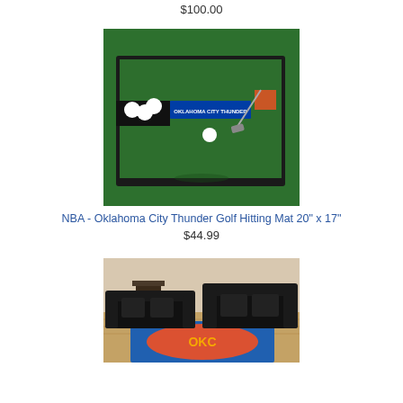$100.00
[Figure (photo): NBA Oklahoma City Thunder Golf Hitting Mat on green turf with golf balls and club]
NBA - Oklahoma City Thunder Golf Hitting Mat 20" x 17"
$44.99
[Figure (photo): Living room with black leather sofas and NBA Oklahoma City Thunder area rug on hardwood floor]